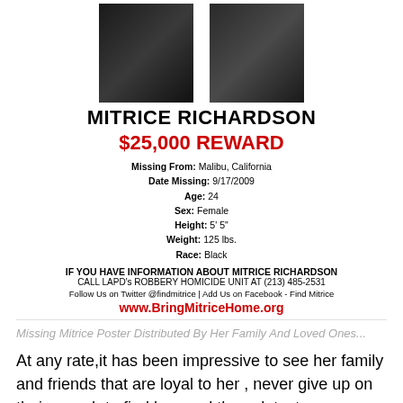[Figure (photo): Two photos of Mitrice Richardson side by side — one showing her from a slight angle in a black top, another frontal portrait also in a dark top]
MITRICE RICHARDSON
$25,000 REWARD
Missing From: Malibu, California
Date Missing: 9/17/2009
Age: 24
Sex: Female
Height: 5' 5"
Weight: 125 lbs.
Race: Black
IF YOU HAVE INFORMATION ABOUT MITRICE RICHARDSON
CALL LAPD's ROBBERY HOMICIDE UNIT AT (213) 485-2531
Follow Us on Twitter @findmitrice | Add Us on Facebook - Find Mitrice
www.BringMitriceHome.org
Missing Mitrice Poster Distributed By Her Family And Loved Ones...
At any rate,it has been impressive to see her family and friends that are loyal to her , never give up on their search to find her, and these latest developments sound positive